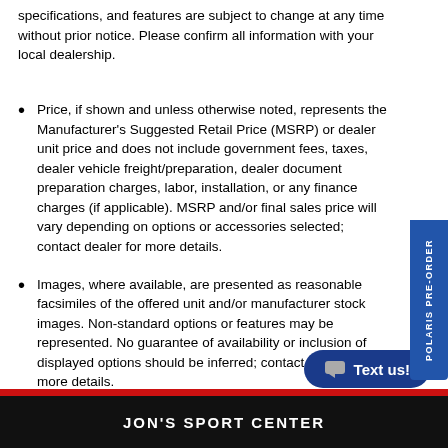specifications, and features are subject to change at any time without prior notice. Please confirm all information with your local dealership.
Price, if shown and unless otherwise noted, represents the Manufacturer's Suggested Retail Price (MSRP) or dealer unit price and does not include government fees, taxes, dealer vehicle freight/preparation, dealer document preparation charges, labor, installation, or any finance charges (if applicable). MSRP and/or final sales price will vary depending on options or accessories selected; contact dealer for more details.
Images, where available, are presented as reasonable facsimiles of the offered unit and/or manufacturer stock images. Non-standard options or features may be represented. No guarantee of availability or inclusion of displayed options should be inferred; contact dealer for more details.
JON'S SPORT CENTER